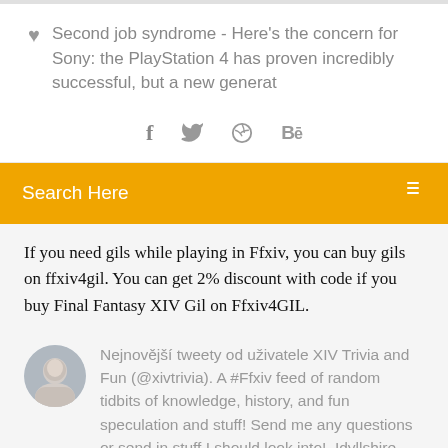Second job syndrome - Here's the concern for Sony: the PlayStation 4 has proven incredibly successful, but a new generat
[Figure (infographic): Social share icons: Facebook (f), Twitter bird, Dribbble, Behance (Be)]
Search Here
If you need gils while playing in Ffxiv, you can buy gils on ffxiv4gil. You can get 2% discount with code if you buy Final Fantasy XIV Gil on Ffxiv4GIL.
Nejnovější tweety od uživatele XIV Trivia and Fun (@xivtrivia). A #Ffxiv feed of random tidbits of knowledge, history, and fun speculation and stuff! Send me any questions or send in stuff I should look into!. Idyllshire, Dravania